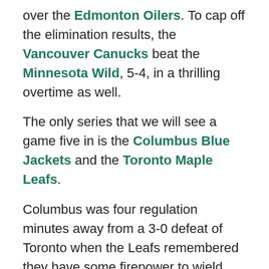over the Edmonton Oilers. To cap off the elimination results, the Vancouver Canucks beat the Minnesota Wild, 5-4, in a thrilling overtime as well.
The only series that we will see a game five in is the Columbus Blue Jackets and the Toronto Maple Leafs.
Columbus was four regulation minutes away from a 3-0 defeat of Toronto when the Leafs remembered they have some firepower to wield. With the goaltender pulled, they scored two goals in 49 seconds to pull within one goal. Columbus came literally inches from sinking an empty-net goal that likely would have ended the comeback. Unfortunately, they went a little to the left and the Leafs found a tying goal in the dying seconds of the game. In overtime, both sides had